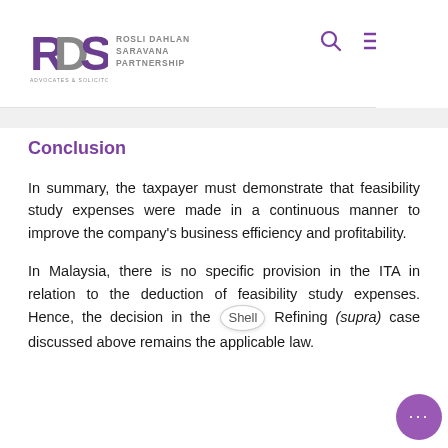RDS Rosli Dahlan Saravana Partnership Advocates & Solicitors — penses
Conclusion
In summary, the taxpayer must demonstrate that feasibility study expenses were made in a continuous manner to improve the company's business efficiency and profitability.
In Malaysia, there is no specific provision in the ITA in relation to the deduction of feasibility study expenses. Hence, the decision in the Shell Refining (supra) case discussed above remains the applicable law.